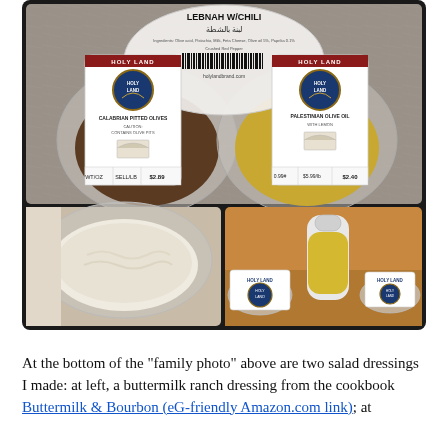[Figure (photo): Three food photos: top photo shows two bowls of olives and a container of Holy Land Lebnah W/Chili from above; bottom-left shows a bowl of creamy buttermilk ranch dressing; bottom-right shows a bottle of yellow dressing with Holy Land branded containers.]
At the bottom of the "family photo" above are two salad dressings I made: at left, a buttermilk ranch dressing from the cookbook Buttermilk & Bourbon (eG-friendly Amazon.com link); at